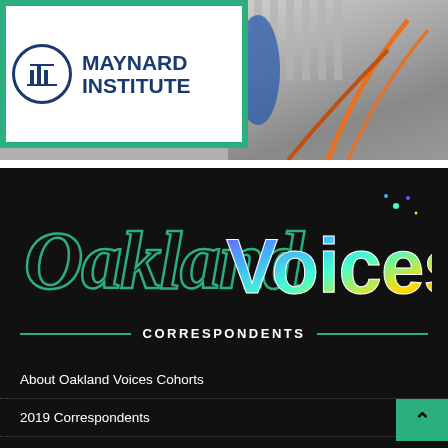[Figure (logo): Maynard Institute logo with circular emblem on green banner background, alongside a building photo with orange graffiti lines]
[Figure (logo): Oakland Voices stylized logo with gothic Oakland lettering in green outline and colorful graffiti-style Voices text]
CORRESPONDENTS
About Oakland Voices Cohorts
2019 Correspondents
2017 Correspondents